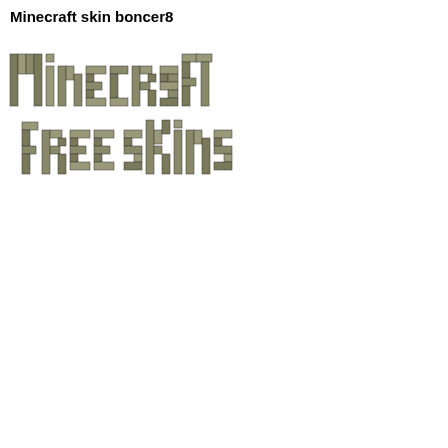Minecraft skin boncer8
[Figure (logo): Minecraft free skins logo rendered in a blocky, pixelated metallic 3D font style. Two lines: 'Minecraft' on the first line and 'free skins' on the second line, with olive/silver colored block letters.]